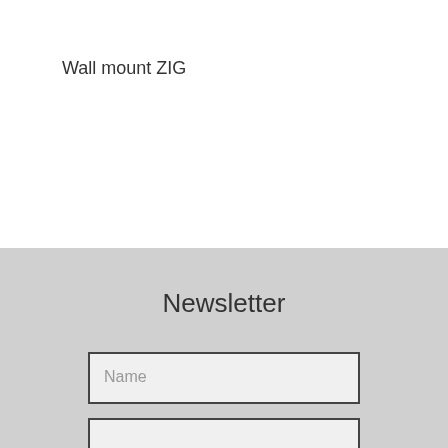Wall mount ZIG
Newsletter
Name